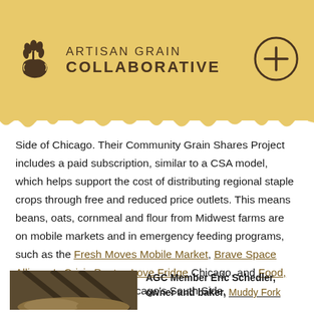ARTISAN GRAIN COLLABORATIVE
Side of Chicago. Their Community Grain Shares Project includes a paid subscription, similar to a CSA model, which helps support the cost of distributing regional staple crops through free and reduced price outlets. This means beans, oats, cornmeal and flour from Midwest farms are on mobile markets and in emergency feeding programs, such as the Fresh Moves Mobile Market, Brave Space Alliance's Crisis Pantry, Love Fridge Chicago, and Food, Farm, Familias all on Chicago's South Side.
[Figure (photo): Photo of grain storage or barn interior with grain]
AGC Member Eric Schedler, owner and baker, Muddy Fork